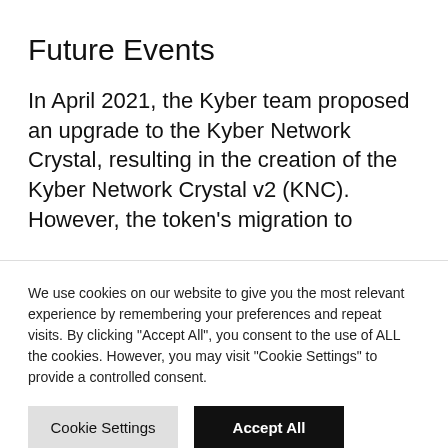Future Events
In April 2021, the Kyber team proposed an upgrade to the Kyber Network Crystal, resulting in the creation of the Kyber Network Crystal v2 (KNC). However, the token’s migration to
We use cookies on our website to give you the most relevant experience by remembering your preferences and repeat visits. By clicking “Accept All”, you consent to the use of ALL the cookies. However, you may visit "Cookie Settings" to provide a controlled consent.
Read our Cookie Statement